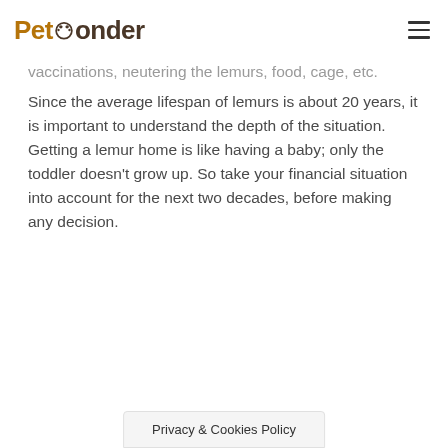PetPonder
vaccinations, neutering the lemurs, food, cage, etc. Since the average lifespan of lemurs is about 20 years, it is important to understand the depth of the situation. Getting a lemur home is like having a baby; only the toddler doesn't grow up. So take your financial situation into account for the next two decades, before making any decision.
Privacy & Cookies Policy